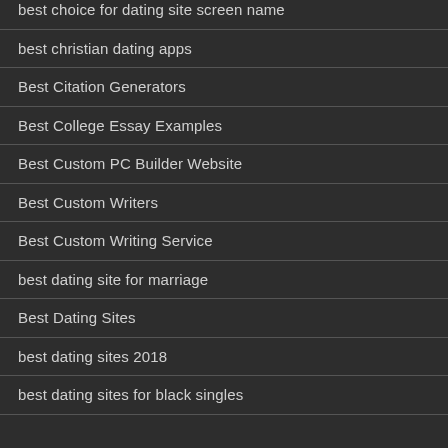best choice for dating site screen name
best christian dating apps
Best Citation Generators
Best College Essay Examples
Best Custom PC Builder Website
Best Custom Writers
Best Custom Writing Service
best dating site for marriage
Best Dating Sites
best dating sites 2018
best dating sites for black singles